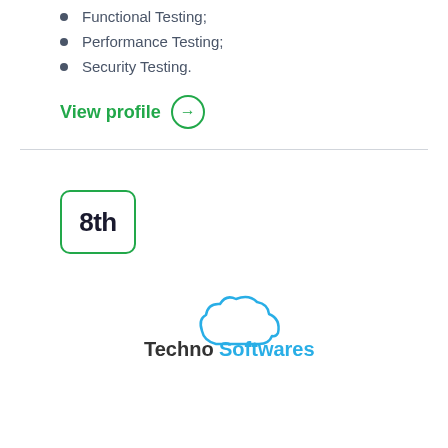Functional Testing;
Performance Testing;
Security Testing.
View profile →
[Figure (other): Rank badge showing '8th' inside a green rounded rectangle border]
[Figure (logo): Techno Softwares logo with cloud graphic and text 'Techno Softwares']